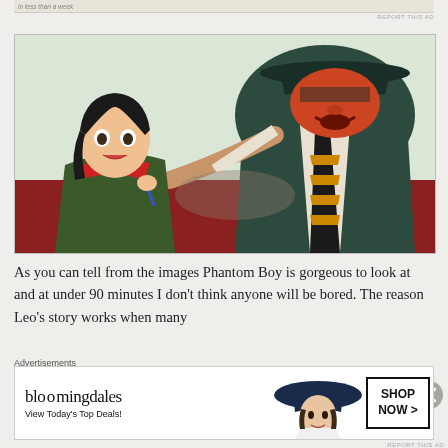[Figure (illustration): Animated film still from Phantom Boy showing a young girl with dark hair and red/green clothing facing a large intimidating man in a dark suit and hat, pointing his finger at her. The image has a stylized, retro animated art style with muted colors.]
As you can tell from the images Phantom Boy is gorgeous to look at and at under 90 minutes I don't think anyone will be bored.  The reason Leo's story works when many
Advertisements
[Figure (infographic): Bloomingdale's advertisement banner with logo text 'bloomingdales', tagline 'View Today's Top Deals!', a woman wearing a large blue hat, and a 'SHOP NOW >' button.]